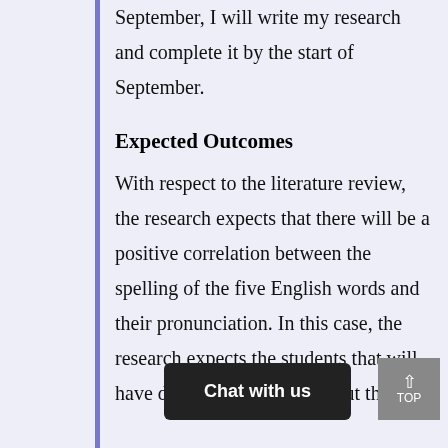September, I will write my research and complete it by the start of September.
Expected Outcomes
With respect to the literature review, the research expects that there will be a positive correlation between the spelling of the five English words and their pronunciation. In this case, the research expects the students that will have difficulties in reading out the co... difficu...